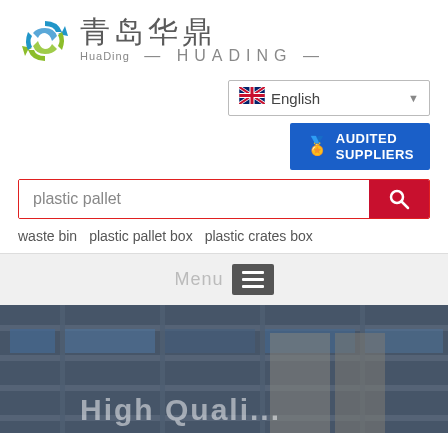[Figure (logo): HuaDing company logo with recycling arrows icon and Chinese/English text '青岛华鼎 HuaDing HUADING']
[Figure (screenshot): Language selector dropdown showing UK flag and 'English' with dropdown arrow]
[Figure (screenshot): Blue 'AUDITED SUPPLIERS' badge button]
[Figure (screenshot): Search bar with 'plastic pallet' text and red search button]
waste bin   plastic pallet box   plastic crates box
[Figure (screenshot): Grey menu bar with 'Menu' text and hamburger icon]
[Figure (photo): Warehouse shelving photo with 'High Quali...' text overlay]